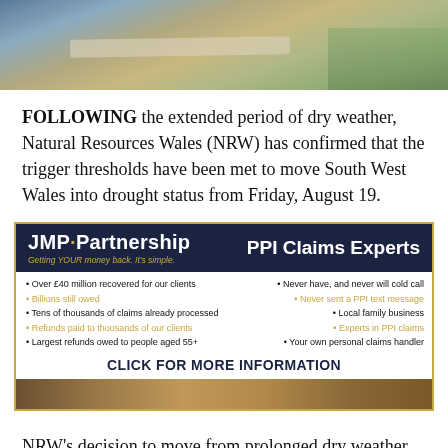[Figure (photo): Outdoor photo showing a dry landscape with a pale road/path, brown earth, and greenery/fence in background]
FOLLOWING the extended period of dry weather, Natural Resources Wales (NRW) has confirmed that the trigger thresholds have been met to move South West Wales into drought status from Friday, August 19.
[Figure (infographic): JMP Partnership PPI Claims Experts advertisement banner. Left side: logo with tagline 'Getting YOUR money back. It's simple.' Right side: 'PPI Claims Experts'. Body lists: Over £40 million recovered for our clients, Billions still owed, Tens of thousands of claims already processed, Refunds paid to thousands of our clients, Largest refunds owed to people aged 55+, Never have and never will cold call, Never sent a PPI text message, Local family business, Experts in PPI claims, Your own personal claims handler. Bottom: CLICK FOR MORE INFORMATION. Below: wood floor photo.]
NRW's decision to move from prolonged dry weather status to drought for the area was agreed and shared with a meeting of the Welsh Government's Drought Liaison...